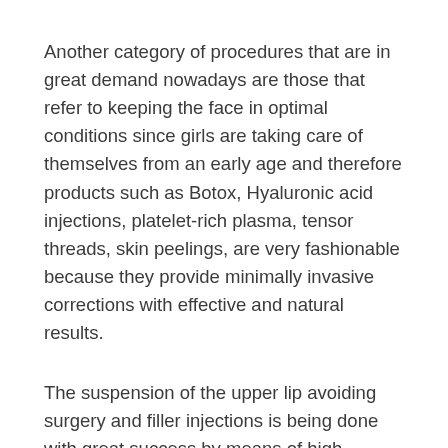Another category of procedures that are in great demand nowadays are those that refer to keeping the face in optimal conditions since girls are taking care of themselves from an early age and therefore products such as Botox, Hyaluronic acid injections, platelet-rich plasma, tensor threads, skin peelings, are very fashionable because they provide minimally invasive corrections with effective and natural results.
The suspension of the upper lip avoiding surgery and filler injections is being done with great success by means of high strength anchoring fibers.
Facelifts are no longer performed through rhytidectomy surgery; nowadays patients are fond of the minimally